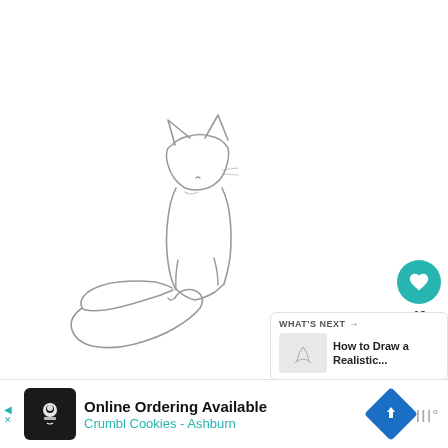[Figure (illustration): A pencil sketch outline of a sitting fox facing slightly left, with pointed ears, a fluffy tail curled around its body to the left, drawn in light gray pencil strokes on white background.]
[Figure (screenshot): Like button (teal circle with heart icon) and share button (light gray circle with share icon), with the number 40 below the like button, forming a social interaction sidebar UI.]
[Figure (screenshot): WHAT'S NEXT panel with thumbnail and text reading 'How to Draw a Realistic...' indicating the next article/tutorial.]
[Figure (screenshot): Advertisement banner: Online Ordering Available, Crumbl Cookies - Ashburn, with cookie logo, road sign icon, and brand logo on right.]